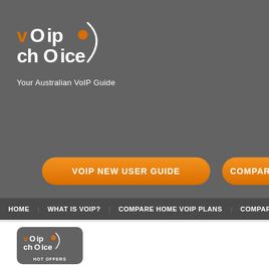[Figure (logo): VoIP Choice logo - stylized text 'vOip chOice' with orange dot and curved line, on dark grey background]
Your Australian VoIP Guide
VOIP NEW USER GUIDE
COMPARE B...
HOME | WHAT IS VOIP? | COMPARE HOME VOIP PLANS | COMPARE BUSINESS V...
[Figure (logo): Small VoIP Choice logo with HOT OFFERS text below, on rounded dark grey square]